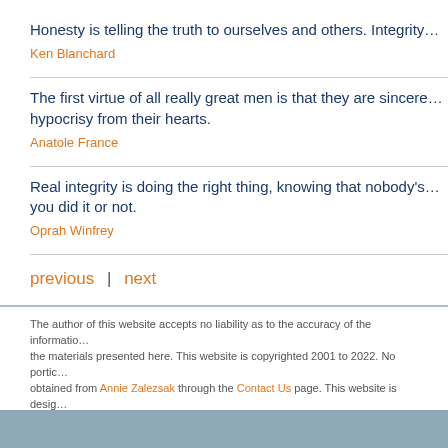Honesty is telling the truth to ourselves and others. Integrity…
Ken Blanchard
The first virtue of all really great men is that they are sincere… hypocrisy from their hearts.
Anatole France
Real integrity is doing the right thing, knowing that nobody's… you did it or not.
Oprah Winfrey
previous  |  next
The author of this website accepts no liability as to the accuracy of the information… the materials presented here. This website is copyrighted 2001 to 2022. No portio… obtained from Annie Zalezsak through the Contact Us page. This website is desig…